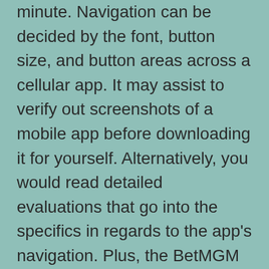minute. Navigation can be decided by the font, button size, and button areas across a cellular app. It may assist to verify out screenshots of a mobile app before downloading it for yourself. Alternatively, you would read detailed evaluations that go into the specifics in regards to the app's navigation. Plus, the BetMGM sportsbook comes with in-play betting, regular promotions, and a $600 risk-free guess bonus. Three of the largest US sports betting operatorsFanDuel, DraftKings and BetMGM, are among the many seven to obtain licenses.
Parx is affiliated with the GAN and Kambi